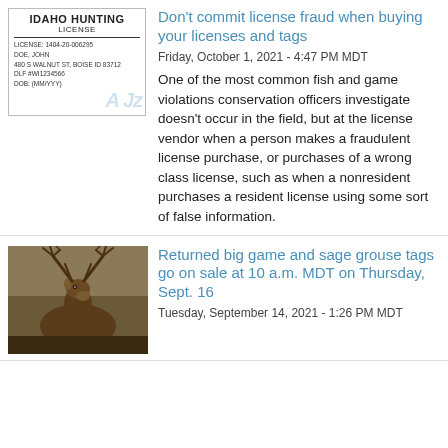[Figure (other): Idaho Hunting License card with fields for license number, name, address, and DOB, with a watermark]
Don't commit license fraud when buying your licenses and tags
Friday, October 1, 2021 - 4:47 PM MDT
One of the most common fish and game violations conservation officers investigate doesn't occur in the field, but at the license vendor when a person makes a fraudulent license purchase, or purchases of a wrong class license, such as when a nonresident purchases a resident license using some sort of false information.
[Figure (photo): Close-up photo of an elk with large antlers]
Returned big game and sage grouse tags go on sale at 10 a.m. MDT on Thursday, Sept. 16
Tuesday, September 14, 2021 - 1:26 PM MDT